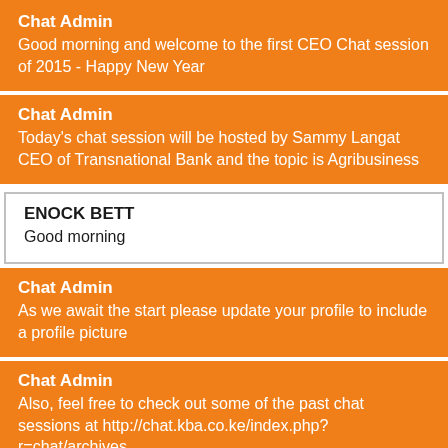Chat Admin
Good morning and welcome to the first CEO Chat session of 2015 - Happy New Year
Chat Admin
Today's chat session will be hosted by Sammy Langat CEO of Transnational Bank and the topic is Agribusiness
ENOCK BETT
Good morning
Chat Admin
As we await the start please update your profile to include a profile picture
Chat Admin
Also, feel free to check out some of the past chat sessions at http://chat.kba.co.ke/index.php?r=chat/archives